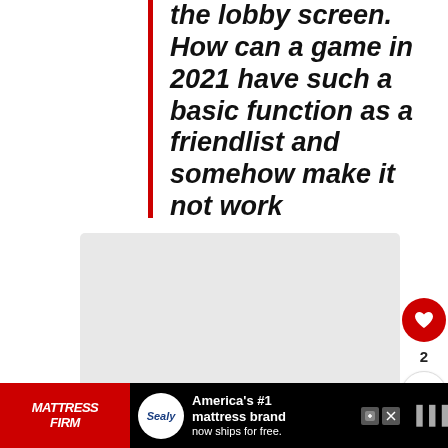the lobby screen. How can a game in 2021 have such a basic function as a friendlist and somehow make it not work
Source
[Figure (screenshot): A light gray card/content area placeholder below the quote block]
[Figure (infographic): Advertisement bar: MattressFirm logo in red, Sealy logo, text America's #1 mattress brand now ships for free.]